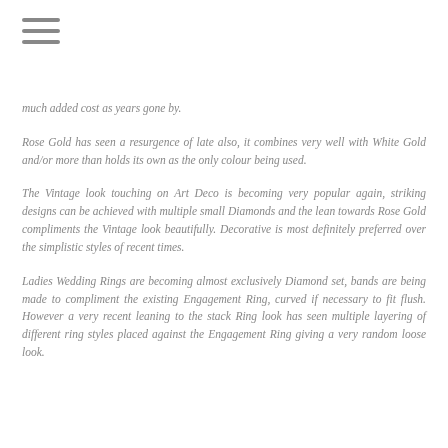≡
much added cost as years gone by.
Rose Gold has seen a resurgence of late also, it combines very well with White Gold and/or more than holds its own as the only colour being used.
The Vintage look touching on Art Deco is becoming very popular again, striking designs can be achieved with multiple small Diamonds and the lean towards Rose Gold compliments the Vintage look beautifully. Decorative is most definitely preferred over the simplistic styles of recent times.
Ladies Wedding Rings are becoming almost exclusively Diamond set, bands are being made to compliment the existing Engagement Ring, curved if necessary to fit flush. However a very recent leaning to the stack Ring look has seen multiple layering of different ring styles placed against the Engagement Ring giving a very random loose look.